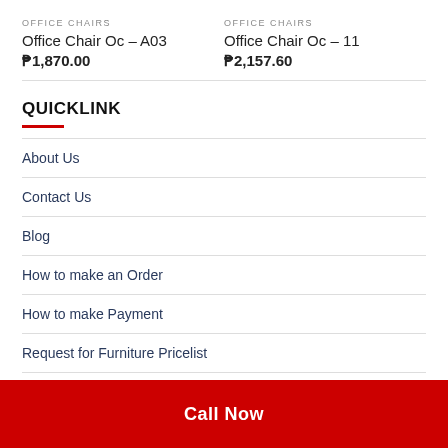OFFICE CHAIRS
Office Chair Oc – A03
₱1,870.00
OFFICE CHAIRS
Office Chair Oc – 11
₱2,157.60
QUICKLINK
About Us
Contact Us
Blog
How to make an Order
How to make Payment
Request for Furniture Pricelist
Call Now